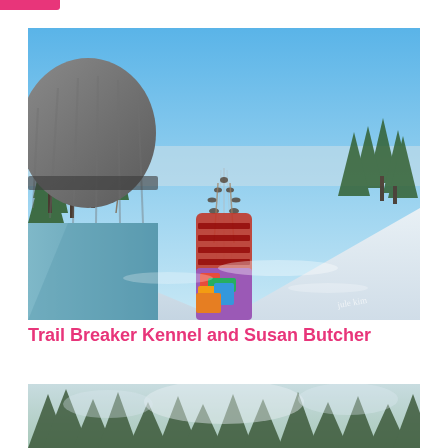[Figure (photo): Point-of-view photo from a dog sled, showing a sled with colorful blankets in the foreground, a line of sled dogs running ahead on a snow trail, with pine trees lining both sides and a bright blue sky above. A watermark reads 'jule kim' in the lower right.]
Trail Breaker Kennel and Susan Butcher
[Figure (photo): Partially visible winter forest scene with snow-covered pine trees, bright sky visible through the treetops.]